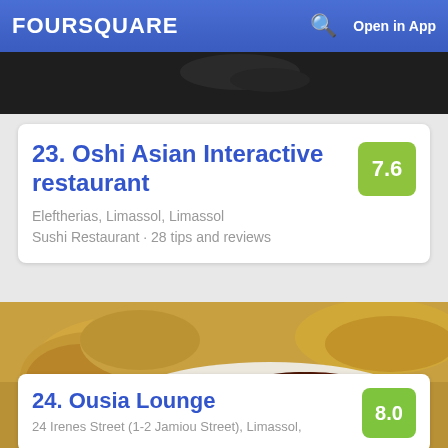FOURSQUARE   Open in App
[Figure (photo): Dark background top image strip, partial view of food/scene above the card]
23. Oshi Asian Interactive restaurant
Eleftherias, Limassol, Limassol
Sushi Restaurant · 28 tips and reviews
[Figure (photo): Close-up food photo of octopus in dark sauce with bread pieces in a white dish]
24. Ousia Lounge
24 Irenes Street (1-2 Jamiou Street), Limassol, Limassol